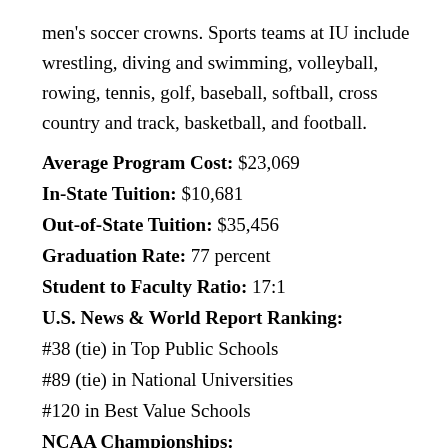men's soccer crowns. Sports teams at IU include wrestling, diving and swimming, volleyball, rowing, tennis, golf, baseball, softball, cross country and track, basketball, and football.
Average Program Cost: $23,069
In-State Tuition: $10,681
Out-of-State Tuition: $35,456
Graduation Rate: 77 percent
Student to Faculty Ratio: 17:1
U.S. News & World Report Ranking: #38 (tie) in Top Public Schools #89 (tie) in National Universities #120 in Best Value Schools
NCAA Championships: Team Titles: 25
Individual Titles: 150